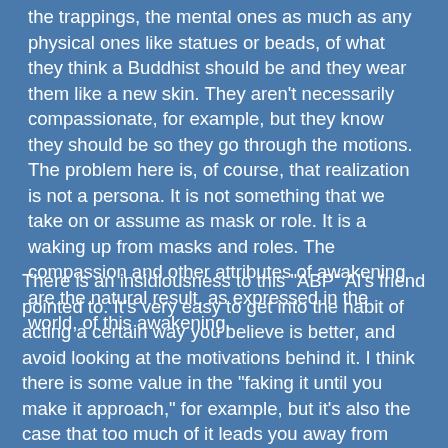the trappings, the mental ones as much as any physical ones like statues or beads, of what they think a Buddhist should be and they wear them like a new skin. They aren't necessarily compassionate, for example, but they know they should be so they go through the motions. The problem here is, of course, that realization is not a persona. It is not something that we take on or assume as mask or role. It is a waking up from masks and roles. The compassion and other attributes of awakening are the natural result, as expressed in the world, of this awakening.
There is an insidiousness to this "ABP" Al's friend pointed to. It's very easy to get into the habit of acting a certain way you believe is better, and avoid looking at the motivations behind it. I think there is some value in the "faking it until you make it approach," for example, but it's also the case that too much of it leads you away from seeing what's actually arising. You do something kind for another, but you miss the